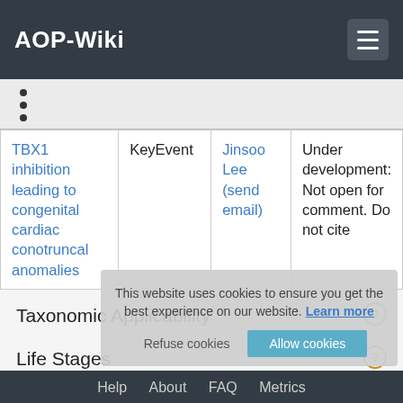AOP-Wiki
•
•
•
|  | KeyEvent | Author | Status |
| --- | --- | --- | --- |
| TBX1 inhibition leading to congenital cardiac conotruncal anomalies | KeyEvent | Jinsoo Lee (send email) | Under development: Not open for comment. Do not cite |
Taxonomic Applicability
Life Stages
Help   About   FAQ   Metrics